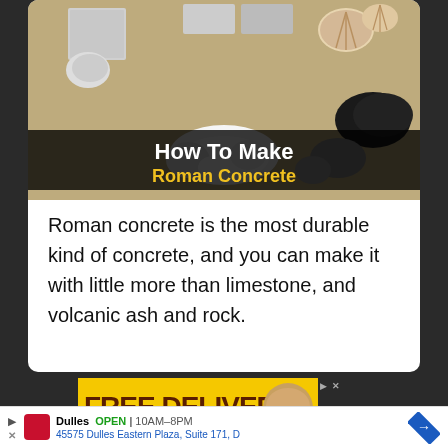[Figure (photo): Thumbnail image showing concrete blocks, shells, and powder on sand background with overlay text 'How To Make Roman Concrete']
Roman concrete is the most durable kind of concrete, and you can make it with little more than limestone, and volcanic ash and rock.
[Figure (photo): Advertisement banner with yellow background showing 'FREE DELIVERY' text with delivery truck and food images]
Dulles OPEN 10AM–8PM 45575 Dulles Eastern Plaza, Suite 171, D